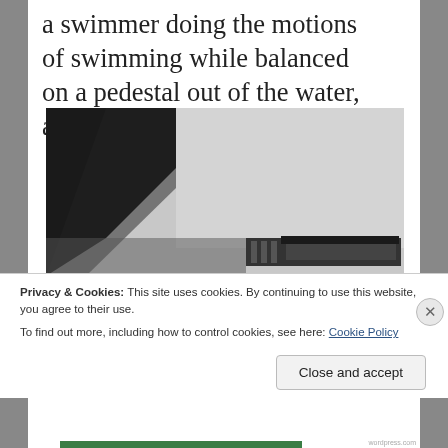a swimmer doing the motions of swimming while balanced on a pedestal out of the water, accomplishing nothing.
[Figure (photo): Black and white photograph showing an interior space with dark window frames, light-colored walls, and what appears to be a notebook or document on a surface in the lower right.]
Privacy & Cookies: This site uses cookies. By continuing to use this website, you agree to their use.
To find out more, including how to control cookies, see here: Cookie Policy
Close and accept